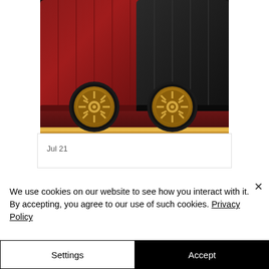[Figure (photo): Close-up photo of the bottom portion of two hardshell suitcases side by side — one dark red/burgundy on the left and one black on the right — showing ornate gold-colored spinner wheels resting on a red carpet with a gold bar at the bottom.]
Jul 21
We use cookies on our website to see how you interact with it. By accepting, you agree to our use of such cookies. Privacy Policy
Settings
Accept